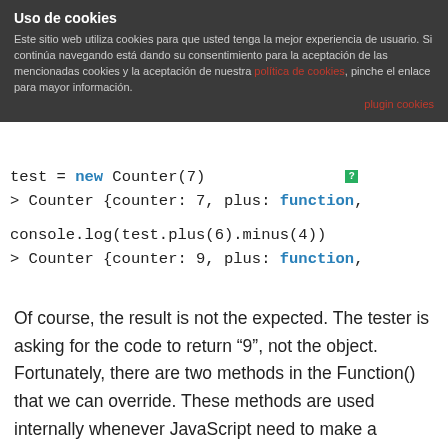Uso de cookies
Este sitio web utiliza cookies para que usted tenga la mejor experiencia de usuario. Si continúa navegando está dando su consentimiento para la aceptación de las mencionadas cookies y la aceptación de nuestra política de cookies, pinche el enlace para mayor información.
plugin cookies
[Figure (screenshot): Code block showing JavaScript: test = new Counter(7) followed by output > Counter {counter: 7, plus: function, and console.log(test.plus(6).minus(4)) followed by output > Counter {counter: 9, plus: function,]
Of course, the result is not the expected. The tester is asking for the code to return “9”, not the object. Fortunately, there are two methods in the Function() that we can override. These methods are used internally whenever JavaScript need to make a comparison, returning the native value of the Function().